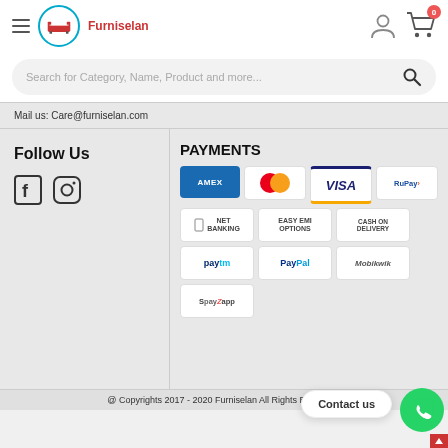[Figure (logo): Furniselan logo with hamburger menu, circular furniture icon, and brand name in red]
[Figure (illustration): User account icon and shopping cart icon with badge showing 0]
Search for Category, Name, Product and more...
Mail us: Care@furniselan.com
Follow Us
[Figure (illustration): Facebook and Instagram social media icons]
PAYMENTS
[Figure (illustration): Payment method logos: AMEX, Mastercard, VISA, RuPay, Net Banking, Easy EMI Options, Cash on Delivery, Paytm, PayPal, Mobikwik, SpayZapp]
Contact us
@ Copyrights 2017 - 2020 Furniselan All Rights Reserved.